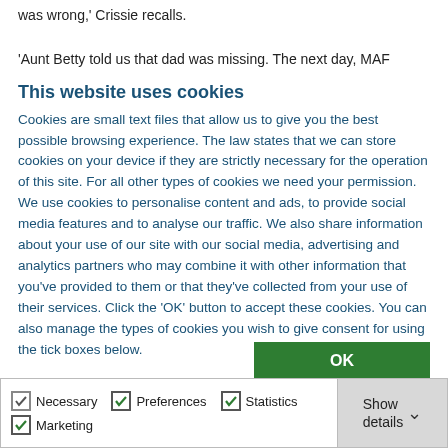was wrong,' Crissie recalls.
'Aunt Betty told us that dad was missing. The next day, MAF
This website uses cookies
Cookies are small text files that allow us to give you the best possible browsing experience. The law states that we can store cookies on your device if they are strictly necessary for the operation of this site. For all other types of cookies we need your permission. We use cookies to personalise content and ads, to provide social media features and to analyse our traffic. We also share information about your use of our site with our social media, advertising and analytics partners who may combine it with other information that you've provided to them or that they've collected from your use of their services. Click the 'OK' button to accept these cookies. You can also manage the types of cookies you wish to give consent for using the tick boxes below.
OK
Necessary
Preferences
Statistics
Marketing
Show details